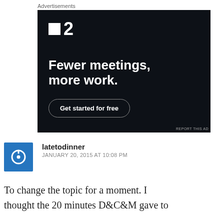Advertisements
[Figure (infographic): Advertisement banner with dark background showing F2 logo, headline 'Fewer meetings, more work.' and a 'Get started for free' button]
REPORT THIS AD
latetodinner
JANUARY 20, 2015 AT 10:08 PM
To change the topic for a moment. I thought the 20 minutes D&C&M gave to